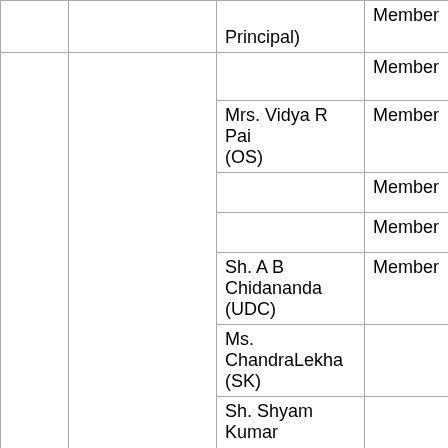|  |  | Name | Role |
| --- | --- | --- | --- |
|  |  | Principal) | Member |
|  |  |  | Member |
|  |  | Mrs. Vidya R Pai (OS) | Member |
|  |  |  | Member |
|  |  |  | Member |
|  |  | Sh. A B Chidananda (UDC) | Member |
|  |  | Ms. ChandraLekha (SK) |  |
|  |  | Sh. Shyam Kumar |  |
|  |  | Sh. Maruti NN... |  |